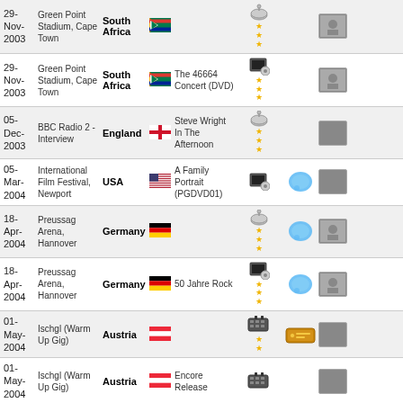| Date | Venue | Country | Flag | Release | Icons | Extra | Thumb |
| --- | --- | --- | --- | --- | --- | --- | --- |
| 29-Nov-2003 | Green Point Stadium, Cape Town | South Africa |  |  | satellite, stars |  | photo |
| 29-Nov-2003 | Green Point Stadium, Cape Town | South Africa |  | The 46664 Concert (DVD) | dvd, stars |  | photo |
| 05-Dec-2003 | BBC Radio 2 - Interview | England |  | Steve Wright In The Afternoon | satellite, stars |  |  |
| 05-Mar-2004 | International Film Festival, Newport | USA |  | A Family Portrait (PGDVD01) | dvd | chat |  |
| 18-Apr-2004 | Preussag Arena, Hannover | Germany |  |  | satellite, stars | chat | photo |
| 18-Apr-2004 | Preussag Arena, Hannover | Germany |  | 50 Jahre Rock | dvd, stars | chat | photo |
| 01-May-2004 | Ischgl (Warm Up Gig) | Austria |  |  | tape, stars | ticket |  |
| 01-May-2004 | Ischgl (Warm Up Gig) | Austria |  | Encore Release | tape |  |  |